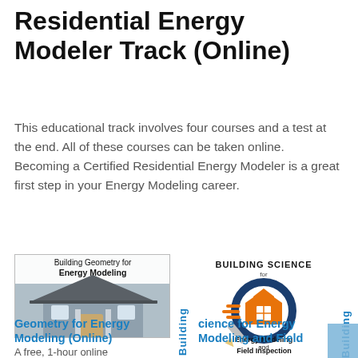Residential Energy Modeler Track (Online)
This educational track involves four courses and a test at the end. All of these courses can be taken online. Becoming a Certified Residential Energy Modeler is a great first step in your Energy Modeling career.
[Figure (photo): Building Geometry for Energy Modeling course thumbnail — house with roof and text overlay]
[Figure (logo): Building Science for Energy Modeling and Field Inspection logo with orange house icon]
Building
Building
Geometry for Energy Modeling (Online)
A free, 1-hour online
cience for Energy Modeling and Field